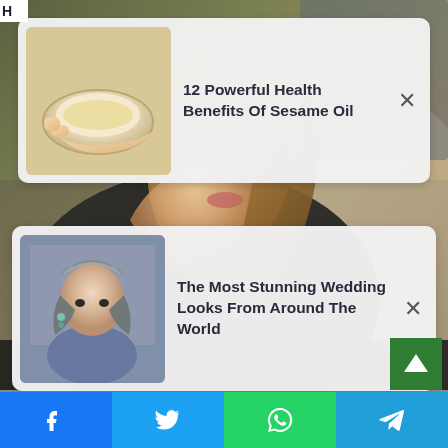H
[Figure (screenshot): Notification card with thumbnail of sesame oil bowl: '12 Powerful Health Benefits Of Sesame Oil']
[Figure (screenshot): Notification card with thumbnail of woman in traditional dress: 'The Most Stunning Wedding Looks From Around The World']
[Figure (photo): Background photo of woman with blonde hair in black outfit sitting in a car]
[Figure (infographic): Social share bar at bottom with Facebook, Twitter, WhatsApp, and Telegram icons]